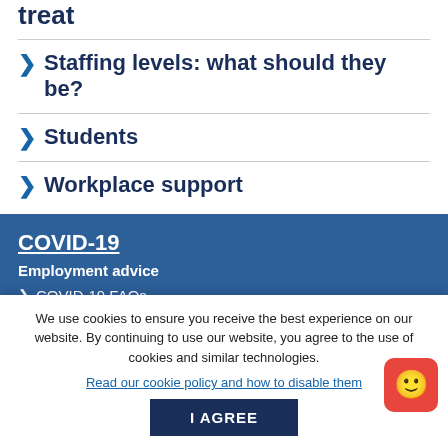treat
> Staffing levels: what should they be?
> Students
> Workplace support
COVID-19
Employment advice
> COVID-19 FAQs
> COVID-19 and vaccination
We use cookies to ensure you receive the best experience on our website. By continuing to use our website, you agree to the use of cookies and similar technologies.
Read our cookie policy and how to disable them
I AGREE